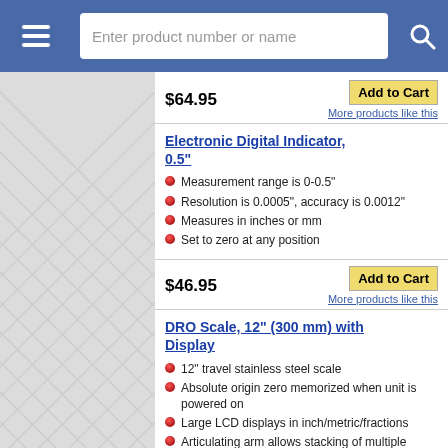Enter product number or name
$64.95
Add to Cart
More products like this
Electronic Digital Indicator, 0.5"
Measurement range is 0-0.5"
Resolution is 0.0005", accuracy is 0.0012"
Measures in inches or mm
Set to zero at any position
$46.95
Add to Cart
More products like this
DRO Scale, 12" (300 mm) with Display
12" travel stainless steel scale
Absolute origin zero memorized when unit is powered on
Large LCD displays in inch/metric/fractions
Articulating arm allows stacking of multiple displays
IP54 Protective rating: Moisture and dust resistance